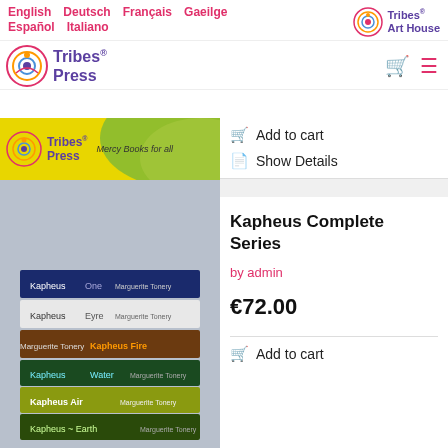English  Deutsch  Français  Gaeilge  Español  Italiano
[Figure (logo): Tribes Art House logo with colorful circle icon]
[Figure (logo): Tribes Press logo with colorful circle icon]
[Figure (logo): Tribes Press banner with yellow background, logo, and slogan 'Mercy Books for all']
[Figure (photo): Stack of Kapheus book series books lying on their sides showing spines: Kapheus One, Kapheus Eyre, Kapheus Fire, Kapheus Water, Kapheus Air, Kapheus Earth by Marguerite Tonery]
Add to cart
Show Details
Kapheus Complete Series
by admin
€72.00
Add to cart